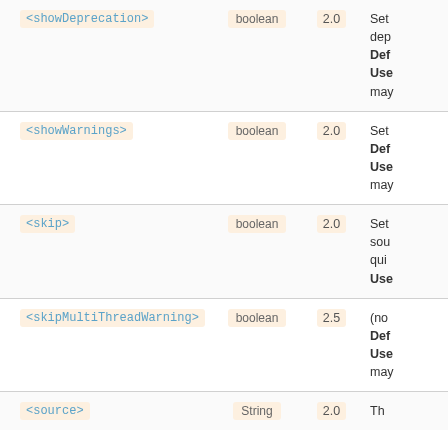| Name | Type | Version | Description |
| --- | --- | --- | --- |
| <showDeprecation> | boolean | 2.0 | Set dep Def Use may |
| <showWarnings> | boolean | 2.0 | Set Def Use may |
| <skip> | boolean | 2.0 | Set sou qui Use |
| <skipMultiThreadWarning> | boolean | 2.5 | (no Def Use may |
| <source> | String | 2.0 | Th |